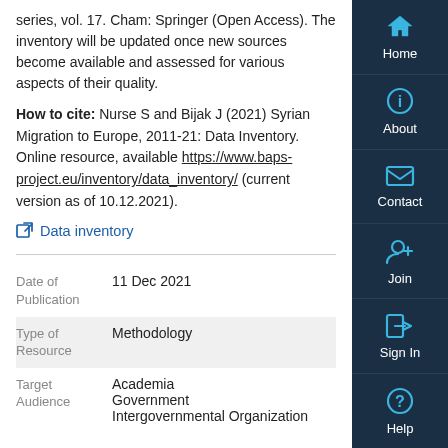series, vol. 17. Cham: Springer (Open Access). The inventory will be updated once new sources become available and assessed for various aspects of their quality.
How to cite: Nurse S and Bijak J (2021) Syrian Migration to Europe, 2011-21: Data Inventory. Online resource, available https://www.baps-project.eu/inventory/data_inventory/ (current version as of 10.12.2021).
Data inventory
| Field | Value |
| --- | --- |
| Date of Publication | 11 Dec 2021 |
| Type of Resource | Methodology |
| Target Audience | Academia
Government
Intergovernmental Organization |
[Figure (illustration): Sidebar navigation with Home, About, Contact, Join, Sign In, Help icons on dark navy background]